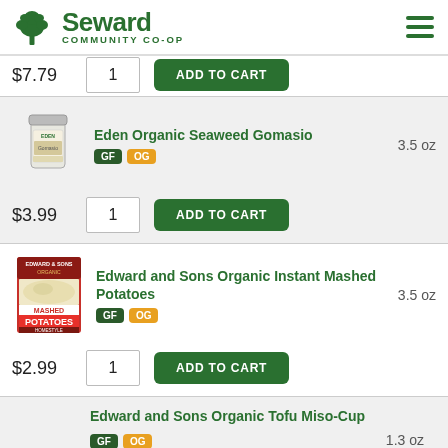Seward Community Co-op
$7.79  1  ADD TO CART
[Figure (photo): Eden Organic Seaweed Gomasio product jar]
Eden Organic Seaweed Gomasio  3.5 oz  GF  OG
$3.99  1  ADD TO CART
[Figure (photo): Edward and Sons Organic Instant Mashed Potatoes box]
Edward and Sons Organic Instant Mashed Potatoes  3.5 oz  GF  OG
$2.99  1  ADD TO CART
Edward and Sons Organic Tofu Miso-Cup  1.3 oz  GF  OG